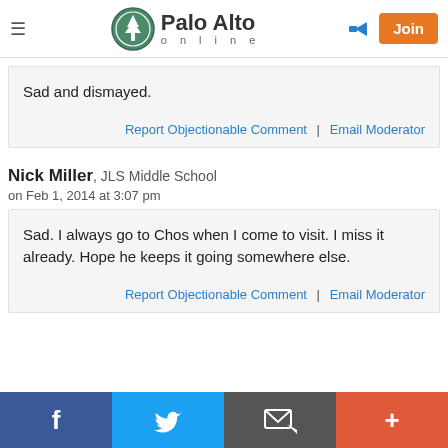Palo Alto online
Sad and dismayed.
Report Objectionable Comment | Email Moderator
Nick Miller, JLS Middle School
on Feb 1, 2014 at 3:07 pm
Sad. I always go to Chos when I come to visit. I miss it already. Hope he keeps it going somewhere else.
Report Objectionable Comment | Email Moderator
f | Twitter | Email | +